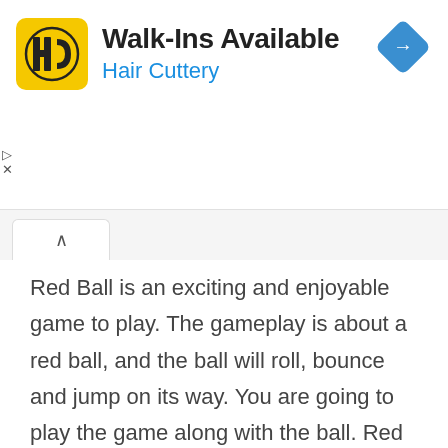[Figure (screenshot): Advertisement banner for Hair Cuttery showing 'Walk-Ins Available' text, HC logo on yellow background, blue navigation arrow icon, and play/close controls on left side]
Red Ball is an exciting and enjoyable game to play. The gameplay is about a red ball, and the ball will roll, bounce and jump on its way. You are going to play the game along with the ball. Red Ball is a 2D game, and the interface of the game will be simple and clear to play. While playing,